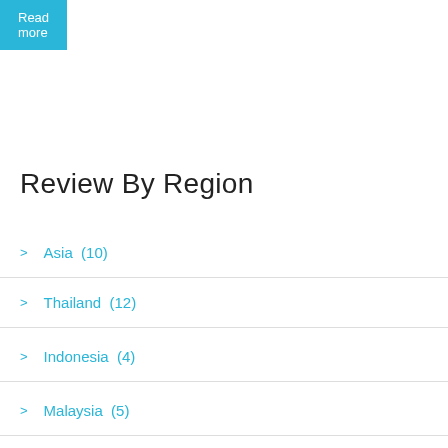Read more
Review By Region
> Asia (10)
> Thailand (12)
> Indonesia (4)
> Malaysia (5)